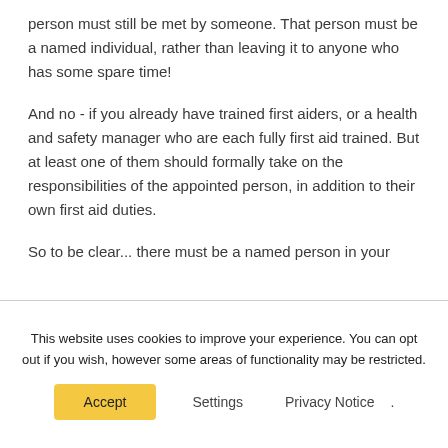person must still be met by someone. That person must be a named individual, rather than leaving it to anyone who has some spare time!
And no - if you already have trained first aiders, or a health and safety manager who are each fully first aid trained. But at least one of them should formally take on the responsibilities of the appointed person, in addition to their own first aid duties.
So to be clear... there must be a named person in your
This website uses cookies to improve your experience. You can opt out if you wish, however some areas of functionality may be restricted.